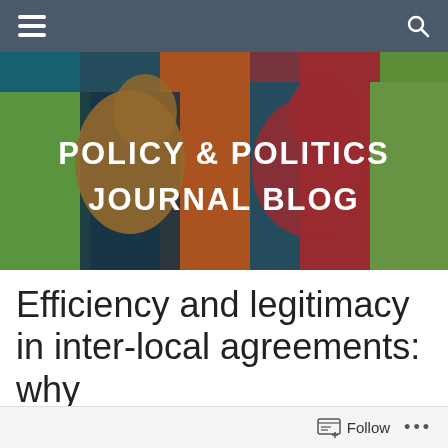Navigation bar with menu and search icons
[Figure (illustration): Policy & Politics Journal Blog banner with colorful pop-art style silhouette faces in green, orange, red, blue, and dark teal. Large white bold text reads POLICY & POLITICS JOURNAL BLOG.]
Efficiency and legitimacy in inter-local agreements: why
Follow ...